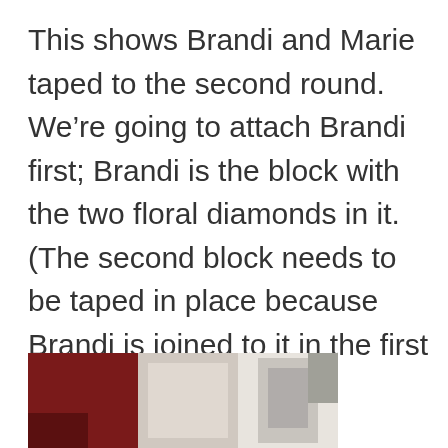This shows Brandi and Marie taped to the second round.  We're going to attach Brandi first; Brandi is the block with the two floral diamonds in it.   (The second block needs to be taped in place because Brandi is joined to it in the first seam.
[Figure (photo): Partial photo showing sewing/quilting materials including red fabric and what appears to be a sewing machine, cropped at the bottom of the page.]